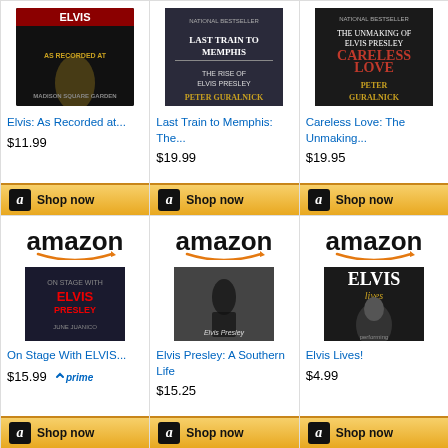[Figure (illustration): Book cover: Elvis As Recorded at...]
Elvis: As Recorded at...
$11.99
[Figure (illustration): Shop now button with Amazon logo]
[Figure (illustration): Book cover: Last Train to Memphis: The...]
Last Train to Memphis: The...
$19.99
[Figure (illustration): Shop now button with Amazon logo]
[Figure (illustration): Book cover: Careless Love: The Unmaking...]
Careless Love: The Unmaking...
$19.95
[Figure (illustration): Shop now button with Amazon logo]
[Figure (logo): Amazon logo with arrow]
[Figure (illustration): Book cover: On Stage With ELVIS...]
On Stage With ELVIS...
$15.99
[Figure (logo): Amazon logo with arrow]
[Figure (illustration): Book cover: Elvis Presley: A Southern Life]
Elvis Presley: A Southern Life
$15.25
[Figure (logo): Amazon logo with arrow]
[Figure (illustration): Book cover: Elvis Lives!]
Elvis Lives!
$4.99